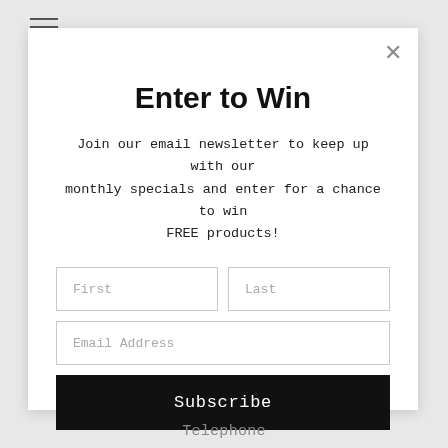[Figure (screenshot): Hamburger menu icon (three horizontal lines) in top left corner of page]
Enter to Win
Join our email newsletter to keep up with our monthly specials and enter for a chance to win FREE products!
First (input field placeholder)
Last (input field placeholder)
Email Address (input field placeholder)
Subscribe
Telephone